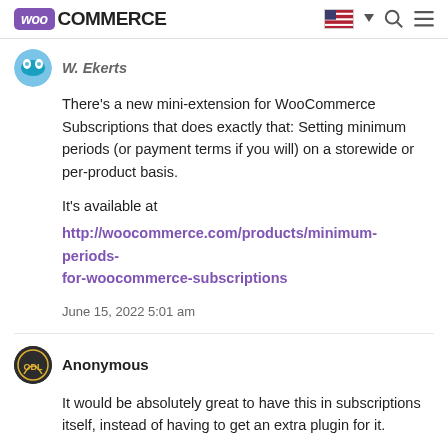WooCommerce
There's a new mini-extension for WooCommerce Subscriptions that does exactly that: Setting minimum periods (or payment terms if you will) on a storewide or per-product basis.

It's available at
http://woocommerce.com/products/minimum-periods-for-woocommerce-subscriptions
June 15, 2022 5:01 am
Anonymous
It would be absolutely great to have this in subscriptions itself, instead of having to get an extra plugin for it.

We have a lot of rentals that have a minimum period of 6